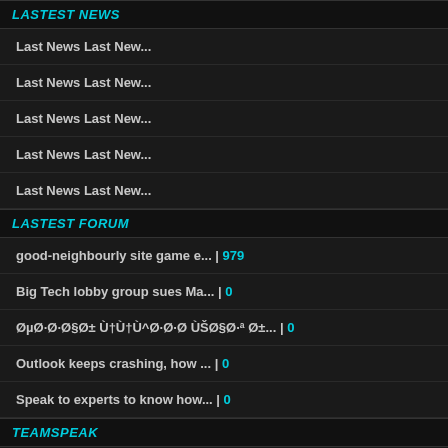LASTEST NEWS
Last News Last New...   21.01.2013
Last News Last New...   21.01.2013
Last News Last New...   21.01.2013
Last News Last New...   21.01.2013
Last News Last New...   20.01.2013
LASTEST FORUM
good-neighbourly site game e... | 979
Big Tech lobby group sues Ma... | 0
Ø§Ø·Ø·Ø§Ø± Ù†Ù^Ø·Ø·ÙŠØ§Ø·ª Ø±... | 0
Outlook keeps crashing, how ... | 0
Speak to experts to know how... | 0
TEAMSPEAK
#1 am 21.01.2021 um 12:01 Uhr
manuelarr
unregistriert
Buy y
that a
webs

web.

web.

web
Web

web

Emai

Wh

https

What

Our p
Simp
-Cho
Plus
CON

web.
web.
web
web
Emai
Wi